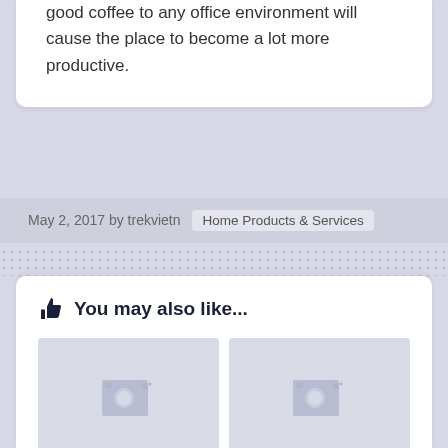good coffee to any office environment will cause the place to become a lot more productive.
May 2, 2017 by trekvietn   Home Products & Services
👍 You may also like...
[Figure (photo): Placeholder image thumbnail for article 1]
Overwhelmed by the Complexity of Upholstery? This May
[Figure (photo): Placeholder image thumbnail for article 2]
What It is Like To Work On A Cruise